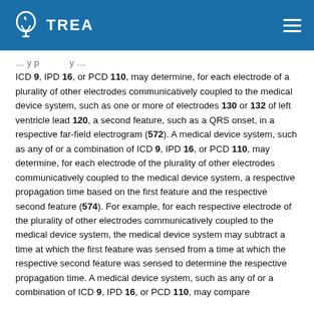TREA
ICD 9, IPD 16, or PCD 110, may determine, for each electrode of a plurality of other electrodes communicatively coupled to the medical device system, such as one or more of electrodes 130 or 132 of left ventricle lead 120, a second feature, such as a QRS onset, in a respective far-field electrogram (572). A medical device system, such as any of or a combination of ICD 9, IPD 16, or PCD 110, may determine, for each electrode of the plurality of other electrodes communicatively coupled to the medical device system, a respective propagation time based on the first feature and the respective second feature (574). For example, for each respective electrode of the plurality of other electrodes communicatively coupled to the medical device system, the medical device system may subtract a time at which the first feature was sensed from a time at which the respective second feature was sensed to determine the respective propagation time. A medical device system, such as any of or a combination of ICD 9, IPD 16, or PCD 110, may compare